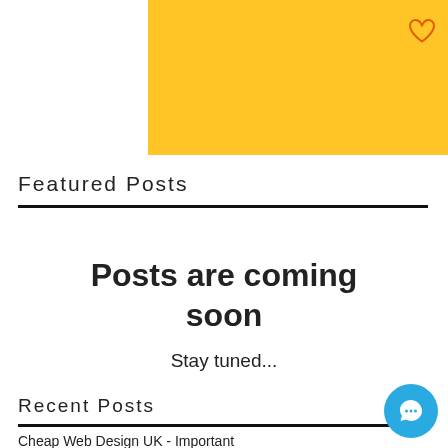[Figure (illustration): Yellow banner/header area at top of page with a heart icon outline in orange at the top right]
Featured Posts
Posts are coming soon
Stay tuned...
Recent Posts
Cheap Web Design UK - Important Facts for Success